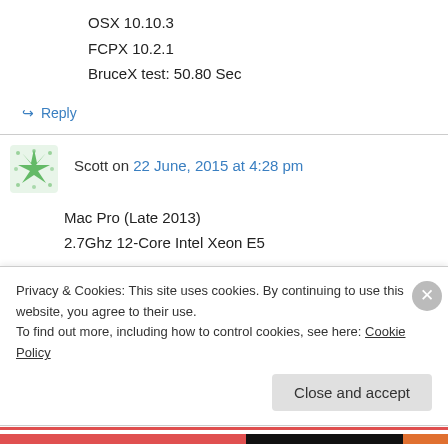OSX 10.10.3
FCPX 10.2.1
BruceX test: 50.80 Sec
↪ Reply
Scott on 22 June, 2015 at 4:28 pm
Mac Pro (Late 2013)
2.7Ghz 12-Core Intel Xeon E5
Privacy & Cookies: This site uses cookies. By continuing to use this website, you agree to their use.
To find out more, including how to control cookies, see here: Cookie Policy
Close and accept